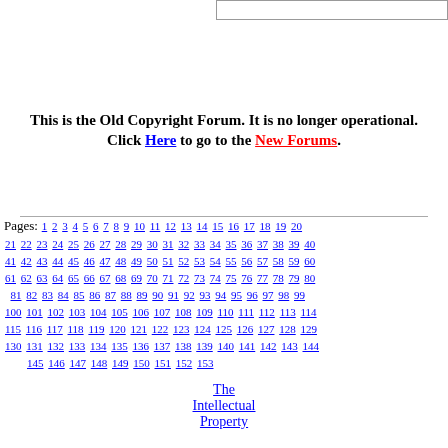This is the Old Copyright Forum. It is no longer operational. Click Here to go to the New Forums.
Pages: 1 2 3 4 5 6 7 8 9 10 11 12 13 14 15 16 17 18 19 20 21 22 23 24 25 26 27 28 29 30 31 32 33 34 35 36 37 38 39 40 41 42 43 44 45 46 47 48 49 50 51 52 53 54 55 56 57 58 59 60 61 62 63 64 65 66 67 68 69 70 71 72 73 74 75 76 77 78 79 80 81 82 83 84 85 86 87 88 89 90 91 92 93 94 95 96 97 98 99 100 101 102 103 104 105 106 107 108 109 110 111 112 113 114 115 116 117 118 119 120 121 122 123 124 125 126 127 128 129 130 131 132 133 134 135 136 137 138 139 140 141 142 143 144 145 146 147 148 149 150 151 152 153
The Intellectual Property